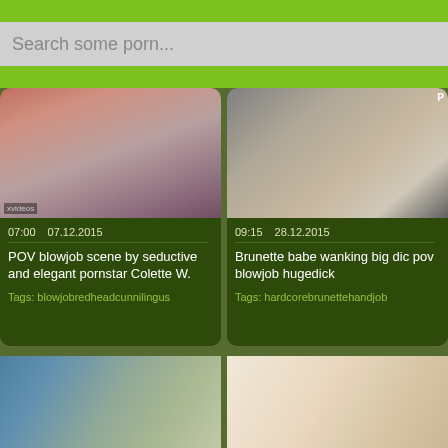Search some porn...
[Figure (screenshot): Video thumbnail showing skin tones close-up]
07:00   07.12.2015
POV blowjob scene by seductive and elegant pornstar Colette W.
Tags: blowjobredheadcunnilingus
[Figure (screenshot): Video thumbnail showing hands]
09:15   28.12.2015
Brunette babe wanking big dic pov blowjob hugedick
Tags: hardcorebrunettehandjob
[Figure (screenshot): Bottom left video thumbnail outdoor scene]
[Figure (screenshot): Bottom right video thumbnail close-up face]